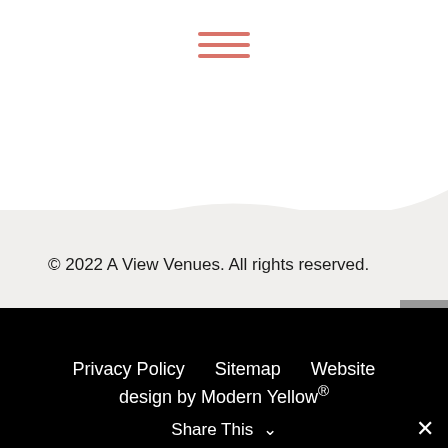[Figure (other): Hamburger menu icon with three horizontal salmon/pink colored lines centered at the top of the page]
© 2022 A View Venues. All rights reserved.
[Figure (other): Gray back-to-top button with upward chevron arrow on the right side]
Privacy Policy    Sitemap    Website design by Modern Yellow®
Share This ∨  ✕